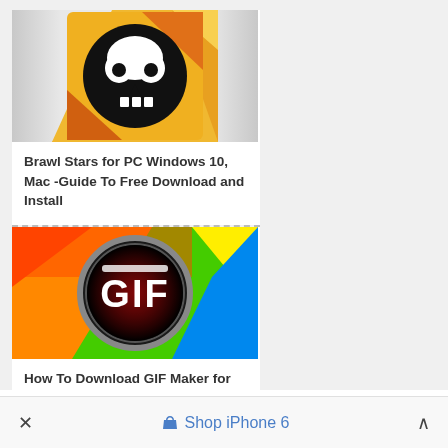[Figure (screenshot): Brawl Stars app icon: yellow background with a black circular skull logo]
Brawl Stars for PC Windows 10, Mac -Guide To Free Download and Install
[Figure (screenshot): GIF Maker app icon: colorful rainbow background with a black circular badge showing 'GIF' text in white]
How To Download GIF Maker for PC And Install on Windows 10, Mac
× Shop iPhone 6 ^